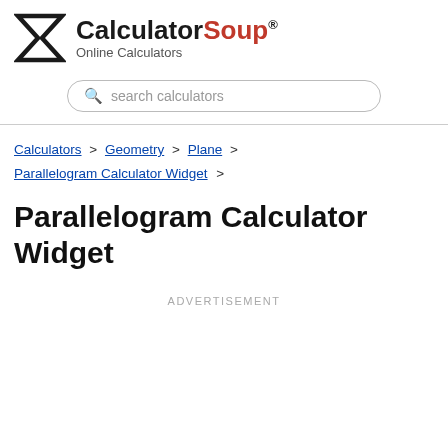CalculatorSoup® Online Calculators
search calculators
Calculators > Geometry > Plane > Parallelogram Calculator Widget >
Parallelogram Calculator Widget
ADVERTISEMENT